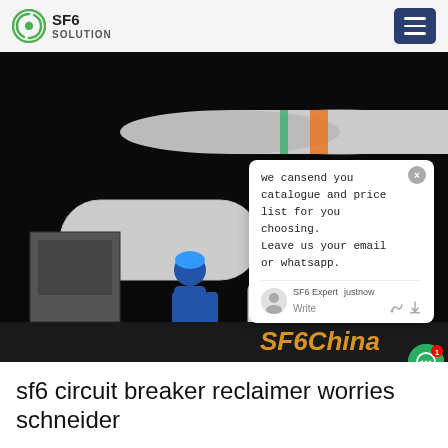SF6 SOLUTION
[Figure (photo): Workers in blue uniforms and hard hats operating SF6 gas reclaiming equipment at night. Large industrial cylinders and tanks visible in background. Watermark text 'SF6China' in orange-yellow in lower right. A chat popup overlay is present on the right side reading: 'we can send you catalogue and price list for you choosing. Leave us your email or whatsapp.' with SF6 Expert and justnow labels.]
sf6 circuit breaker reclaimer worries schneider